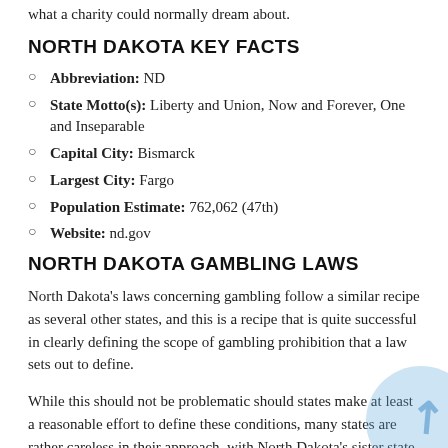what a charity could normally dream about.
NORTH DAKOTA KEY FACTS
Abbreviation: ND
State Motto(s): Liberty and Union, Now and Forever, One and Inseparable
Capital City: Bismarck
Largest City: Fargo
Population Estimate: 762,062 (47th)
Website: nd.gov
NORTH DAKOTA GAMBLING LAWS
North Dakota's laws concerning gambling follow a similar recipe as several other states, and this is a recipe that is quite successful in clearly defining the scope of gambling prohibition that a law sets out to define.
While this should not be problematic should states make at least a reasonable effort to define these conditions, many states are rather careless in their approach, with North Dakota's sister state South Dakota being a prime